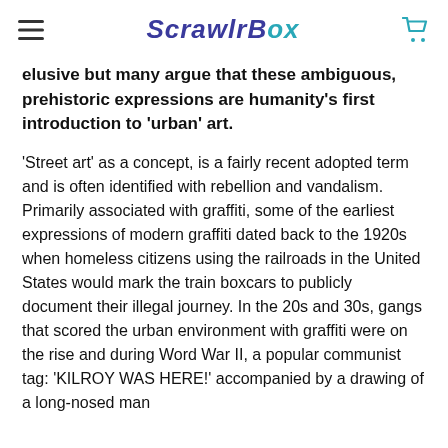ScrawlrBox
elusive but many argue that these ambiguous, prehistoric expressions are humanity's first introduction to 'urban' art.
'Street art' as a concept, is a fairly recent adopted term and is often identified with rebellion and vandalism. Primarily associated with graffiti, some of the earliest expressions of modern graffiti dated back to the 1920s when homeless citizens using the railroads in the United States would mark the train boxcars to publicly document their illegal journey. In the 20s and 30s, gangs that scored the urban environment with graffiti were on the rise and during Word War II, a popular communist tag: 'KILROY WAS HERE!' accompanied by a drawing of a long-nosed man